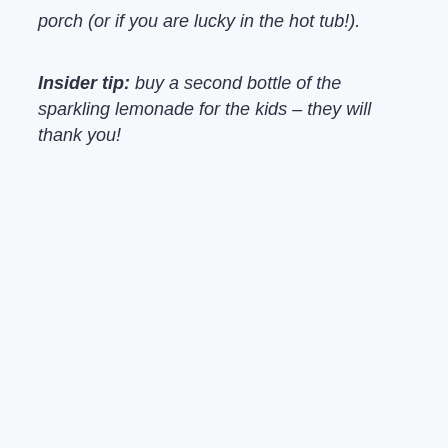porch (or if you are lucky in the hot tub!).
Insider tip: buy a second bottle of the sparkling lemonade for the kids – they will thank you!